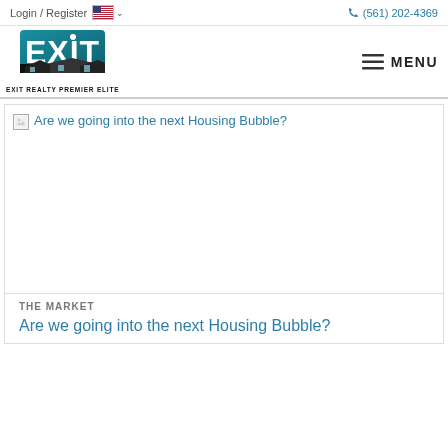Login / Register  🇺🇸 ∨   (561) 202-4369
[Figure (logo): EXIT Realty Premier Elite logo — teal and white EXIT text with house silhouette]
EXIT REALTY PREMIER ELITE
≡ MENU
[Figure (photo): Broken image placeholder with alt text: Are we going into the next Housing Bubble?]
THE MARKET
Are we going into the next Housing Bubble?